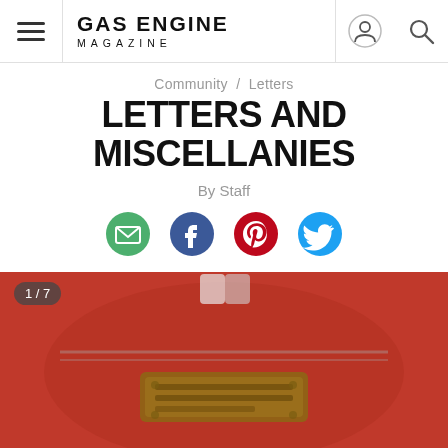Gas Engine Magazine
Community / Letters
LETTERS AND MISCELLANIES
By Staff
[Figure (photo): Red vintage gas engine with a brass nameplate, image 1 of 7 slideshow]
1 / 7